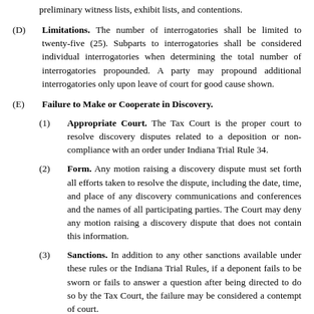preliminary witness lists, exhibit lists, and contentions.
(D) Limitations. The number of interrogatories shall be limited to twenty-five (25). Subparts to interrogatories shall be considered individual interrogatories when determining the total number of interrogatories propounded. A party may propound additional interrogatories only upon leave of court for good cause shown.
(E) Failure to Make or Cooperate in Discovery.
(1) Appropriate Court. The Tax Court is the proper court to resolve discovery disputes related to a deposition or non-compliance with an order under Indiana Trial Rule 34.
(2) Form. Any motion raising a discovery dispute must set forth all efforts taken to resolve the dispute, including the date, time, and place of any discovery communications and conferences and the names of all participating parties. The Court may deny any motion raising a discovery dispute that does not contain this information.
(3) Sanctions. In addition to any other sanctions available under these rules or the Indiana Trial Rules, if a deponent fails to be sworn or fails to answer a question after being directed to do so by the Tax Court, the failure may be considered a contempt of court.
(4) Required Actions Prior to Court Involvement. The parties shall not involve the Tax Court in any discovery dispute, including disputes involving depositions, before conferring in a good faith attempt to resolve the dispute. In any dispute that cannot be resolved in this manner and after complying with